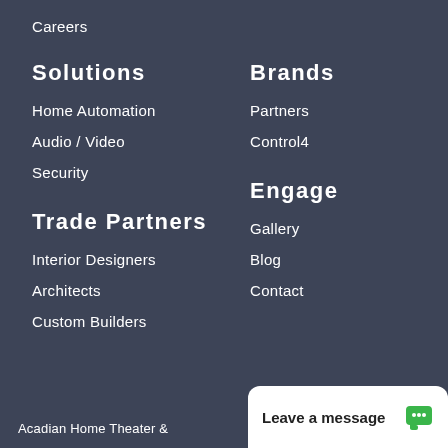Careers
Solutions
Home Automation
Audio / Video
Security
Brands
Partners
Control4
Trade Partners
Interior Designers
Architects
Custom Builders
Engage
Gallery
Blog
Contact
Acadian Home Theater &
Leave a message